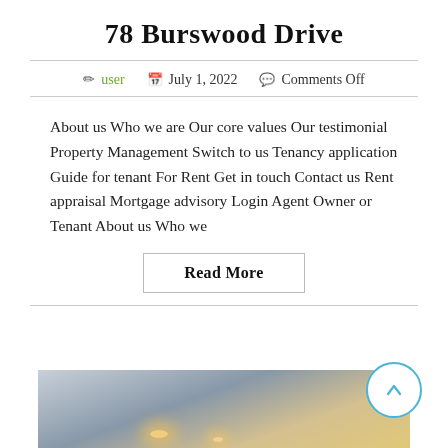78 Burswood Drive
user   July 1, 2022   Comments Off
About us Who we are Our core values Our testimonial Property Management Switch to us Tenancy application Guide for tenant For Rent Get in touch Contact us Rent appraisal Mortgage advisory Login Agent Owner or Tenant About us Who we
Read More
[Figure (photo): Interior room photo showing ceiling with recessed lighting and warm ambient light]